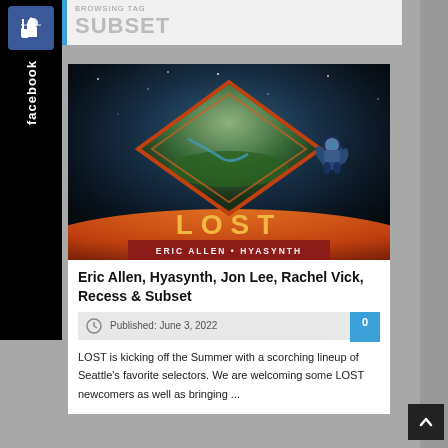BROWSING TAG
SUBSET
[Figure (photo): LOST event promotional artwork featuring geometric diamond logo over planet landscape, astronaut figure, text ERIC ALLEN • HYASYNTH at bottom]
Eric Allen, Hyasynth, Jon Lee, Rachel Vick, Recess & Subset
Published: June 3, 2022
LOST is kicking off the Summer with a scorching lineup of Seattle's favorite selectors. We are welcoming some LOST newcomers as well as bringing ...